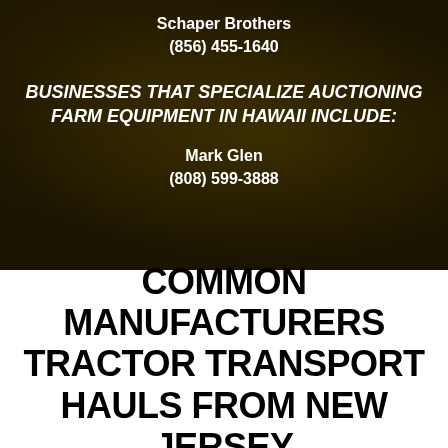Schaper Brothers
(856) 455-1640
BUSINESSES THAT SPECIALIZE AUCTIONING FARM EQUIPMENT IN HAWAII INCLUDE:
Mark Glen
(808) 599-3888
COMMON MANUFACTURERS TRACTOR TRANSPORT HAULS FROM NEW JERSEY